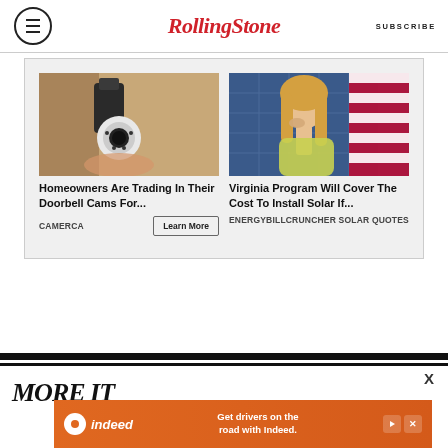Rolling Stone | SUBSCRIBE
[Figure (screenshot): Advertisement widget with two ad cards: Left card shows a security camera mounted on a wall with headline 'Homeowners Are Trading In Their Doorbell Cams For...' sourced from CAMERCA with a 'Learn More' button. Right card shows a woman in front of an American flag with headline 'Virginia Program Will Cover The Cost To Install Solar If...' sourced from ENERGYBILLCRUNCHER SOLAR QUOTES.]
Homeowners Are Trading In Their Doorbell Cams For...
CAMERCA
Learn More
Virginia Program Will Cover The Cost To Install Solar If...
ENERGYBILLCRUNCHER SOLAR QUOTES
[Figure (screenshot): Indeed advertisement banner with text 'Get drivers on the road with Indeed.' on an orange background with the Indeed logo.]
Get drivers on the road with Indeed.